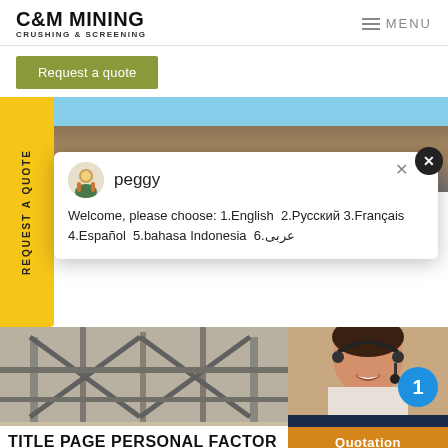C&M MINING CRUSHING & SCREENING | MENU
Request a quote
[Figure (screenshot): Mining landscape with mountains in background]
peggy
Welcome, please choose: 1.English  2.Русский 3.Français  4.Español  5.bahasa Indonesia  6.عربى
[Figure (photo): Industrial mining machinery with X-frame structure]
[Figure (photo): Customer service representative with headset smiling]
1
Have any requests, click here.
Quotation
TITLE PAGE PERSONAL FACTOR
REQUEST A QUOTE